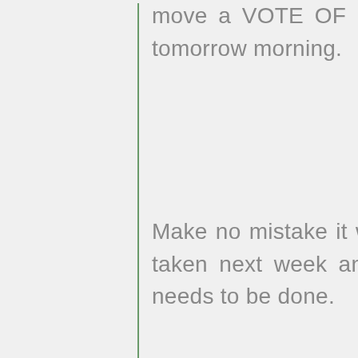move a VOTE OF NO CONFIDENCE in the GONZI tomorrow morning.
Make no mistake it will take top priority. A vote will be taken next week and YOU will do what the country needs to be done.
So you better go and prepare your MOZZJONI for tomorrow. It does not need to be so long; everybody knows the